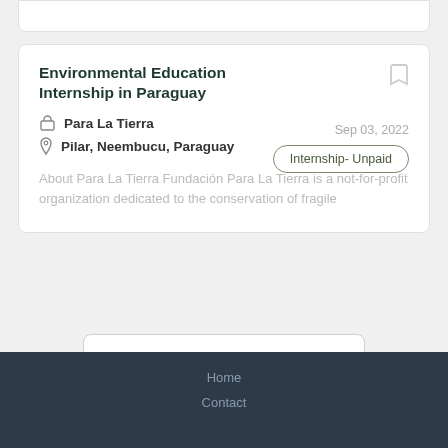Environmental Education Internship in Paraguay
Sep 03, 2022
Para La Tierra
Pilar, Neembucu, Paraguay
Internship- Unpaid
About Para La Tierra Fundación Para La Tierra is a not-for-profit organization dedicated to the conservation of fragile
Load more
Home
Contact